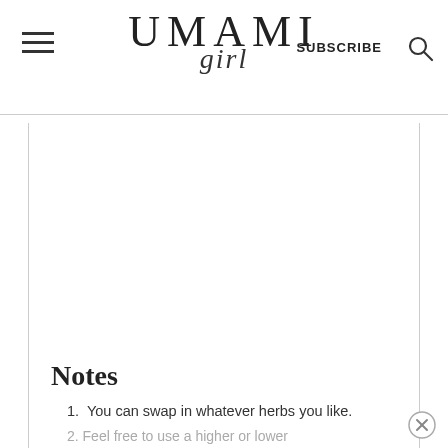UMAMI girl | SUBSCRIBE
[Figure (other): Large white blank content area/advertisement placeholder within a bordered card]
Notes
You can swap in whatever herbs you like.
Feel free to use a higher or lower...